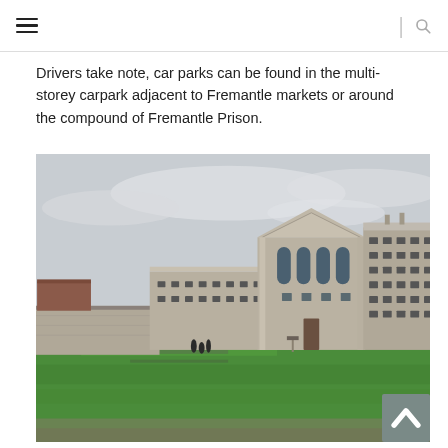Navigation menu | Search
Drivers take note, car parks can be found in the multi-storey carpark adjacent to Fremantle markets or around the compound of Fremantle Prison.
[Figure (photo): Exterior view of Fremantle Prison, a historic stone building with a triangular pediment, arched windows, and a long wing with rows of small windows. Green lawn in the foreground with a few visitors visible. Overcast sky.]